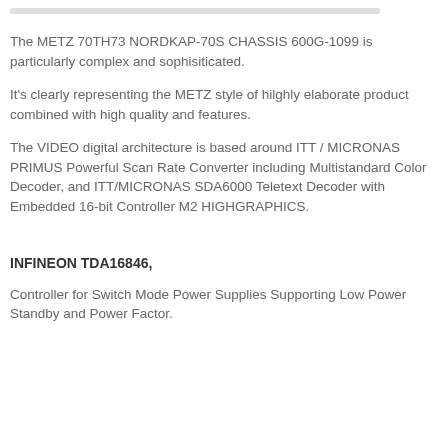The METZ 70TH73 NORDKAP-70S CHASSIS 600G-1099 is particularly complex and sophisiticated.
It's clearly representing the METZ style of hilghly elaborate product combined with high quality and features.
The VIDEO digital architecture is based around ITT / MICRONAS PRIMUS Powerful Scan Rate Converter including Multistandard Color Decoder, and ITT/MICRONAS SDA6000 Teletext Decoder with Embedded 16-bit Controller M2 HIGHGRAPHICS.
INFINEON TDA16846,
Controller for Switch Mode Power Supplies Supporting Low Power Standby and Power Factor.